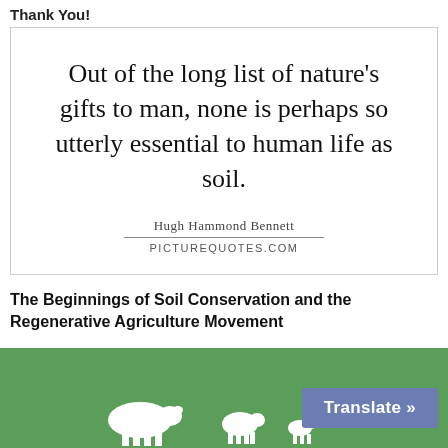Thank You!
[Figure (illustration): Quote image with text: Out of the long list of nature’s gifts to man, none is perhaps so utterly essential to human life as soil. — Hugh Hammond Bennett. PICTUREQUOTES.com]
The Beginnings of Soil Conservation and the Regenerative Agriculture Movement
[Figure (illustration): Green footer bar with white silhouette illustrations of farm animals and a Translate button]